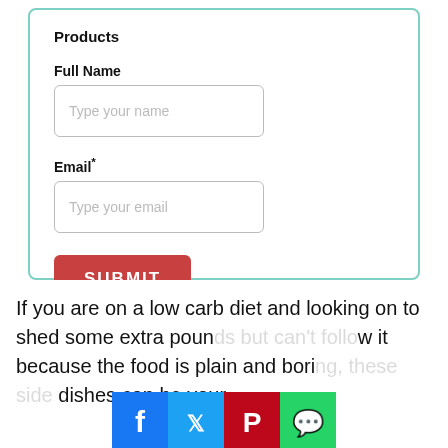Products
Full Name
Type your name
Email*
Type your email
SUBMIT
Marketing by
ActiveCampaign ❯
If you are on a low carb diet and looking on to shed some extra pounds but can't follow it because the food is plain and boring, these side dishes can be your